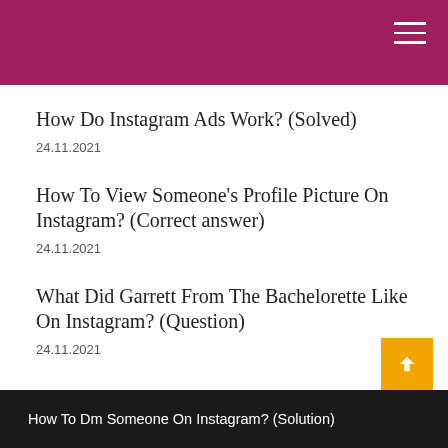How Do Instagram Ads Work? (Solved)
24.11.2021
How To View Someone's Profile Picture On Instagram? (Correct answer)
24.11.2021
What Did Garrett From The Bachelorette Like On Instagram? (Question)
24.11.2021
How To Dm Someone On Instagram? (Solution)